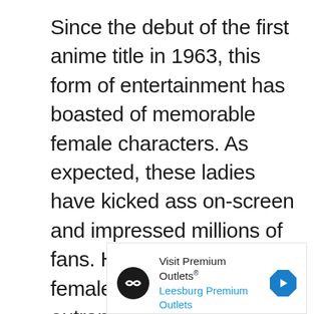Since the debut of the first anime title in 1963, this form of entertainment has boasted of memorable female characters. As expected, these ladies have kicked ass on-screen and impressed millions of fans. However, some female anime characters outrank others.

Now the question comes – who are the best ladies in anime? Well, we have
[Figure (other): Advertisement banner for Visit Premium Outlets / Leesburg Premium Outlets with logo, text, navigation arrow icon, and ad controls (play/close buttons)]